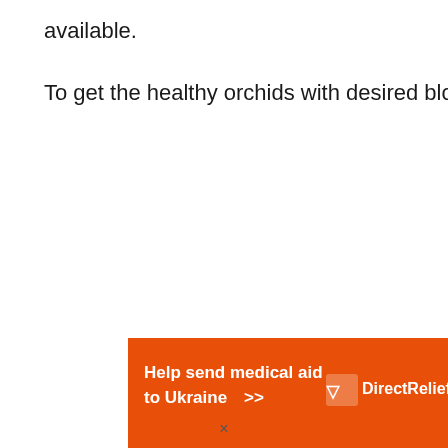available.
To get the healthy orchids with desired blooms-
[Figure (other): Orange advertisement banner for Direct Relief. Text reads 'Help send medical aid to Ukraine >>' on the left side and the Direct Relief logo with icon on the right side. Orange background with white text and logo.]
×